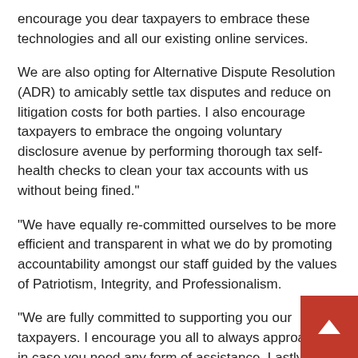encourage you dear taxpayers to embrace these technologies and all our existing online services.
We are also opting for Alternative Dispute Resolution (ADR) to amicably settle tax disputes and reduce on litigation costs for both parties. I also encourage taxpayers to embrace the ongoing voluntary disclosure avenue by performing thorough tax self-health checks to clean your tax accounts with us without being fined."
"We have equally re-committed ourselves to be more efficient and transparent in what we do by promoting accountability amongst our staff guided by the values of Patriotism, Integrity, and Professionalism.
"We are fully committed to supporting you our taxpayers. I encourage you all to always approach us in case you need any form of assistance. Lastly, I wish to remind all o… to be mindful of the potential spread of Covid-19 dur… the festive season. Guard yourself and your loved ones at all times by upholding the Standard Operating Procedures